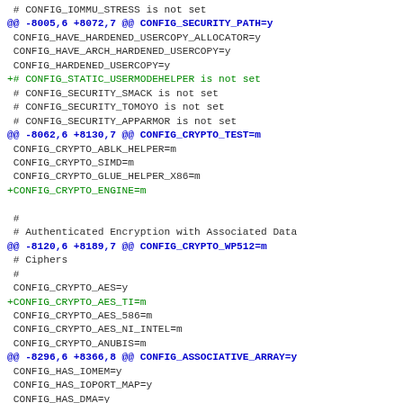# CONFIG_IOMMU_STRESS is not set
@@ -8005,6 +8072,7 @@ CONFIG_SECURITY_PATH=y
 CONFIG_HAVE_HARDENED_USERCOPY_ALLOCATOR=y
 CONFIG_HAVE_ARCH_HARDENED_USERCOPY=y
 CONFIG_HARDENED_USERCOPY=y
+# CONFIG_STATIC_USERMODEHELPER is not set
 # CONFIG_SECURITY_SMACK is not set
 # CONFIG_SECURITY_TOMOYO is not set
 # CONFIG_SECURITY_APPARMOR is not set
@@ -8062,6 +8130,7 @@ CONFIG_CRYPTO_TEST=m
 CONFIG_CRYPTO_ABLK_HELPER=m
 CONFIG_CRYPTO_SIMD=m
 CONFIG_CRYPTO_GLUE_HELPER_X86=m
+CONFIG_CRYPTO_ENGINE=m

 #
 # Authenticated Encryption with Associated Data
@@ -8120,6 +8189,7 @@ CONFIG_CRYPTO_WP512=m
 # Ciphers
 #
 CONFIG_CRYPTO_AES=y
+CONFIG_CRYPTO_AES_TI=m
 CONFIG_CRYPTO_AES_586=m
 CONFIG_CRYPTO_AES_NI_INTEL=m
 CONFIG_CRYPTO_ANUBIS=m
@@ -8296,6 +8366,8 @@ CONFIG_ASSOCIATIVE_ARRAY=y
 CONFIG_HAS_IOMEM=y
 CONFIG_HAS_IOPORT_MAP=y
 CONFIG_HAS_DMA=y
+# CONFIG_DMA_NOOP_OPS is not set
 +CONFIG_DMA_VIRT_OPS...